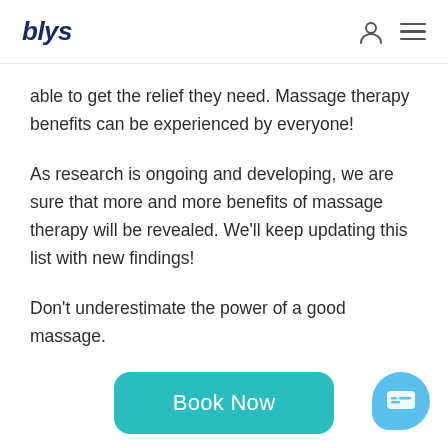blys
able to get the relief they need. Massage therapy benefits can be experienced by everyone!
As research is ongoing and developing, we are sure that more and more benefits of massage therapy will be revealed. We'll keep updating this list with new findings!
Don't underestimate the power of a good massage.
[Figure (other): Teal 'Book Now' button with rounded corners]
[Figure (other): Blue chat bubble button in bottom-right corner]